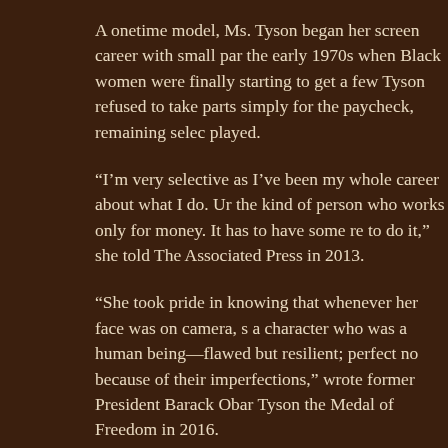A onetime model, Ms. Tyson began her screen career with small parts in the early 1970s when Black women were finally starting to get a few roles. Tyson refused to take parts simply for the paycheck, remaining selective about roles played.
“I’m very selective as I’ve been my whole career about what I do. Un the kind of person who works only for money. It has to have some reason to do it,” she told The Associated Press in 2013.
“She took pride in knowing that whenever her face was on camera, she played a character who was a human being—flawed but resilient; perfect not in spite of but because of their imperfections,” wrote former President Barack Obama, who gave Tyson the Medal of Freedom in 2016.
She is widely known for “Roots,” “The Autobiography of Miss Jane Pittman,” “Fried Green Tomatoes” and “Sounder.” She won three Emmys, and many awards from civil rights and women’s groups. When she was 88, she became the oldest person to win a Tony for her 2013 Broadway role in a revival of Horton Foote’s “The Trip to Bountiful.”
Her acclaim didn’t end there, at 93, she won an honorary Oscar, and was inducted into the American Theater Hall of Fame in 2018 and into the Television Hall of Fame in 2020. She also won a career achievement Peabody Award in 2020.